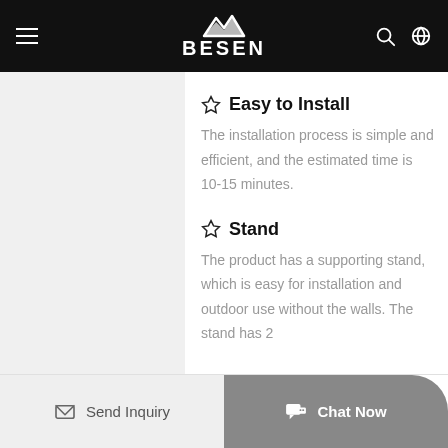BESEN
Easy to Install
The installation process is simple and efficient, and the estimated time is 10-15 minutes.
Stand
The product has a supporting stand, which is easy for installation and outdoor use without the walls. The stand has 2
Send Inquiry  Chat Now